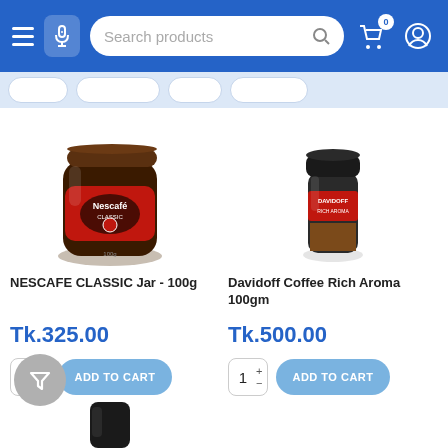[Figure (screenshot): Mobile e-commerce app header with hamburger menu, microphone icon, search bar 'Search products', cart icon with badge '0', and user profile icon on blue background]
[Figure (screenshot): Category filter strip with pill-shaped buttons]
[Figure (photo): NESCAFE CLASSIC Jar 100g product image - dark glass jar with brown lid and red Nescafe label]
NESCAFE CLASSIC Jar - 100g
Tk.325.00
[Figure (photo): Davidoff Coffee Rich Aroma 100gm product image - small glass jar with black lid and red/black label]
Davidoff Coffee Rich Aroma 100gm
Tk.500.00
[Figure (infographic): Filter funnel FAB button (grey circle with funnel icon)]
[Figure (photo): Partial product image visible at bottom of page - dark container]